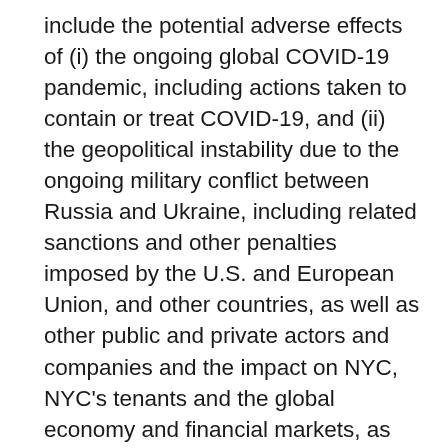include the potential adverse effects of (i) the ongoing global COVID-19 pandemic, including actions taken to contain or treat COVID-19, and (ii) the geopolitical instability due to the ongoing military conflict between Russia and Ukraine, including related sanctions and other penalties imposed by the U.S. and European Union, and other countries, as well as other public and private actors and companies and the impact on NYC, NYC's tenants and the global economy and financial markets, as well as those set forth in the Risk Factors section of NYC's most recent Annual Report on Form 10-K for the year ended December 31, 2021 filed on March 18, 2022, and all other filings filed with the Securities and Exchange Commission after that date, as such risks